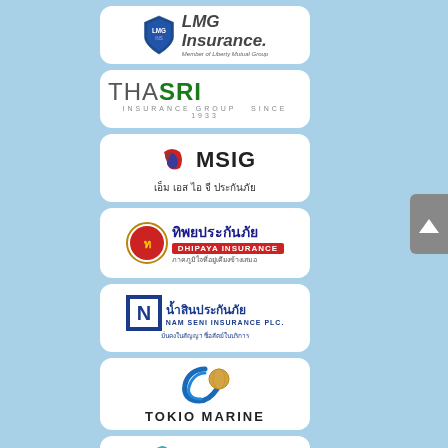[Figure (logo): LMG Insurance - Member of Liberty Mutual Group logo, white card with shield icon and italic text]
[Figure (logo): THASRI Insurance Group logo, white card with THA in grey and SRI in green, INSURANCE GROUP text below]
[Figure (logo): MSIG insurance logo with red and blue diamond shape icon, Thai text below]
[Figure (logo): Dhipaya Insurance / ทิพยประกันภัย logo with circular emblem, blue and red banner]
[Figure (logo): Nam Seni Insurance PLC / น้ำสินประกันภัย logo with blue square N icon]
[Figure (logo): Tokio Marine logo with blue and gold globe swirl icon]
[Figure (logo): ไทยประกันภัย (Thai Insurance) logo with teal snake/swan icon, partially visible]